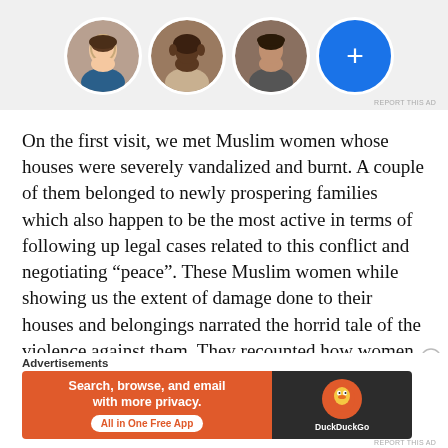[Figure (photo): Row of three circular profile photos of people and a blue circle with a plus sign, shown in an advertisement or social media UI element]
On the first visit, we met Muslim women whose houses were severely vandalized and burnt. A couple of them belonged to newly prospering families which also happen to be the most active in terms of following up legal cases related to this conflict and negotiating “peace”. These Muslim women while showing us the extent of damage done to their houses and belongings narrated the horrid tale of the violence against them. They recounted how women they greeted so often
Advertisements
[Figure (screenshot): DuckDuckGo advertisement banner: orange background on left with text 'Search, browse, and email with more privacy. All in One Free App', and dark background on right with DuckDuckGo logo]